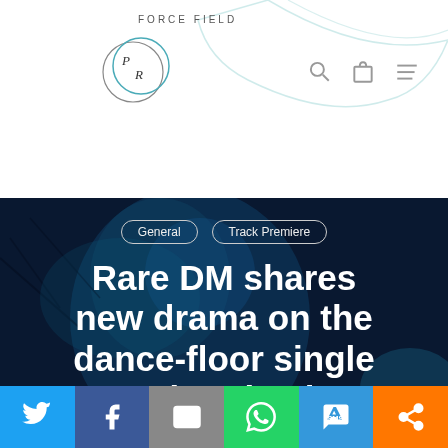FORCE FIELD PR logo with search, bag, and menu icons
[Figure (screenshot): Hero image: dark blue-tinted photo of a person under dramatic lighting with trees in background. Overlaid with category tags 'General' and 'Track Premiere' and large white headline text.]
Rare DM shares new drama on the dance-floor single “Jade” via The Talkhouse and
[Figure (infographic): Social sharing bar with Twitter, Facebook, Email, WhatsApp, SMS, and Other share buttons at the bottom of the page.]